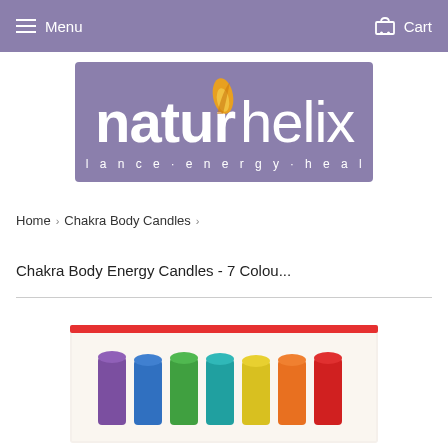Menu   Cart
[Figure (logo): Naturhelix logo — purple background with white text 'naturhelix' and tagline 'balance · energy · health', with a golden leaf/flame accent over the 'u']
Home › Chakra Body Candles ›
Chakra Body Energy Candles - 7 Colou...
[Figure (photo): Product photo of 7 colorful chakra body candles arranged in a row (purple, blue, green, yellow, orange, red) inside a clear zip-lock bag on a white background]